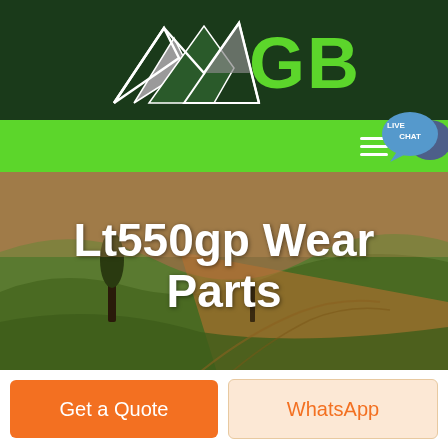[Figure (logo): GBM logo with mountain/arrow graphic in white and gray on dark green background, with green bold 'GBM' text]
[Figure (screenshot): Green navigation bar with hamburger menu icon on the right, and a live chat speech bubble overlay in the top right corner]
[Figure (photo): Aerial photograph of rolling agricultural fields with warm sunset lighting, green hills and sandy/orange tones, with a lone tree]
Lt550gp Wear Parts
Get a Quote
WhatsApp